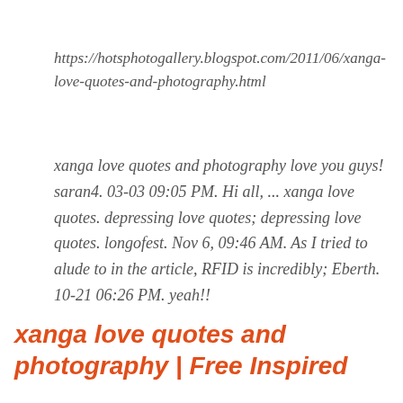https://hotsphotogallery.blogspot.com/2011/06/xanga-love-quotes-and-photography.html
xanga love quotes and photography love you guys! saran4. 03-03 09:05 PM. Hi all, ... xanga love quotes. depressing love quotes; depressing love quotes. longofest. Nov 6, 09:46 AM. As I tried to alude to in the article, RFID is incredibly; Eberth. 10-21 06:26 PM. yeah!!
xanga love quotes and photography | Free Inspired